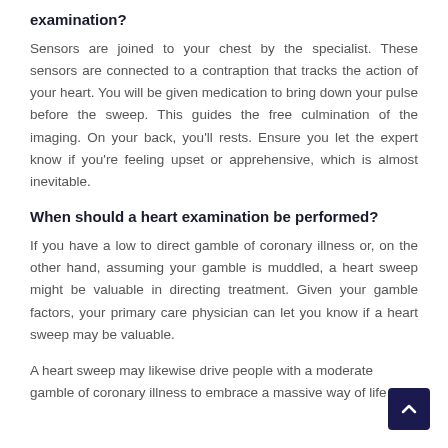examination?
Sensors are joined to your chest by the specialist. These sensors are connected to a contraption that tracks the action of your heart. You will be given medication to bring down your pulse before the sweep. This guides the free culmination of the imaging. On your back, you’ll rests. Ensure you let the expert know if you’re feeling upset or apprehensive, which is almost inevitable.
When should a heart examination be performed?
If you have a low to direct gamble of coronary illness or, on the other hand, assuming your gamble is muddled, a heart sweep might be valuable in directing treatment. Given your gamble factors, your primary care physician can let you know if a heart sweep may be valuable.
A heart sweep may likewise drive people with a moderate gamble of coronary illness to embrace a massive way of life